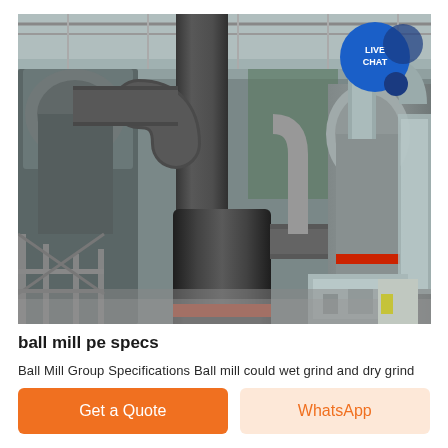[Figure (photo): Industrial factory interior showing large ball mill machinery with gray cylindrical ducts, pipes, and grinding equipment on a factory floor. A 'LIVE CHAT' bubble icon appears in the top right corner of the image.]
ball mill pe specs
Ball Mill Group Specifications Ball mill could wet grind and dry grind